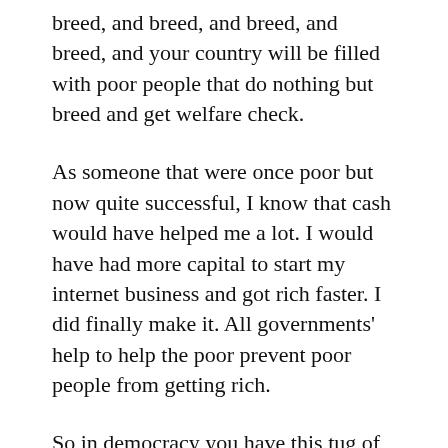breed, and breed, and breed, and breed, and your country will be filled with poor people that do nothing but breed and get welfare check.
As someone that were once poor but now quite successful, I know that cash would have helped me a lot. I would have had more capital to start my internet business and got rich faster. I did finally make it. All governments' help to help the poor prevent poor people from getting rich.
So in democracy you have this tug of war. Some wants bigger redistribution of wealth and another make sure that live is still shitty for the unproductive even though the redistribution of wealth is already big.